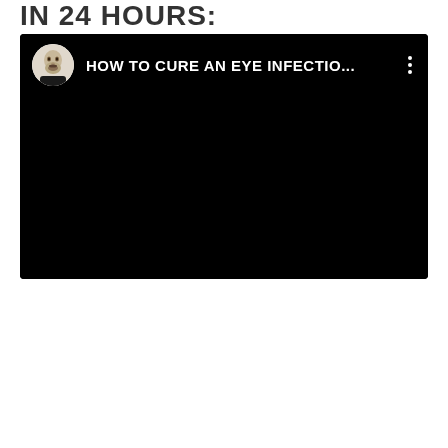IN 24 HOURS:
[Figure (screenshot): A YouTube video player screenshot with black background showing a video thumbnail. The video header shows a circular avatar of a man's face and the title 'HOW TO CURE AN EYE INFECTIO...' with a three-dot menu icon on a black background.]